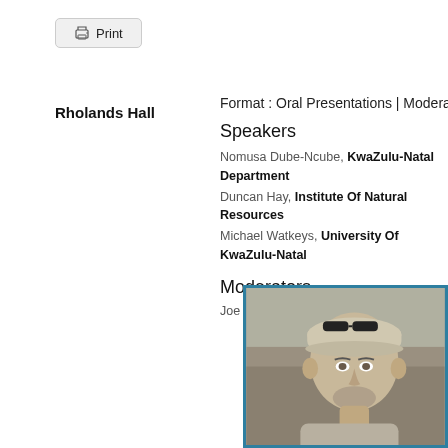Print
Rholands Hall
Format : Oral Presentations | Moderated
Speakers
Nomusa Dube-Ncube, KwaZulu-Natal Department
Duncan Hay, Institute Of Natural Resources
Michael Watkeys, University Of KwaZulu-Natal
Moderators
Joe Phadima, Ezemvelo KZN Wildlife
[Figure (photo): Black and white portrait photo of a man wearing a cap with sunglasses on top, with facial stubble, smiling slightly, outdoors rocky background.]